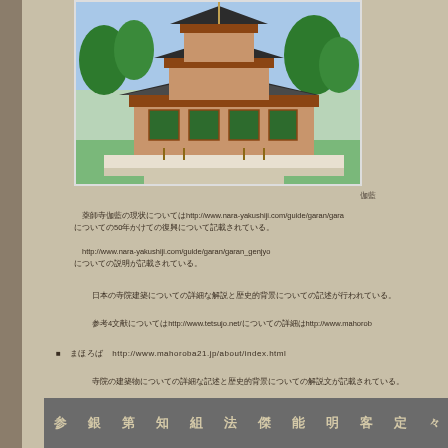[Figure (photo): Japanese Buddhist temple pagoda with traditional multi-tiered roof architecture, surrounded by trees and green lawn, with stone path in foreground]
伽藍
薬師寺伽藍の現状についてはhttp://www.nara-yakushiji.com/guide/garan/garaについて50年かけて復興中である
http://www.nara-yakushiji.com/guide/garan/garan_genjyoについての説明
日本の寺院建築についての詳細な解説と歴史的背景についての記述
参考4文献についてはhttp://www.tetsujo.net/についての詳細はhttp://www.mahorob
■　まほろば　http://www.mahoroba21.jp/about/index.html
寺院の建築物についての詳細な記述と歴史的背景についての解説文
参考文献 第一銀行 知識 組織 法制 傑出 能力 客